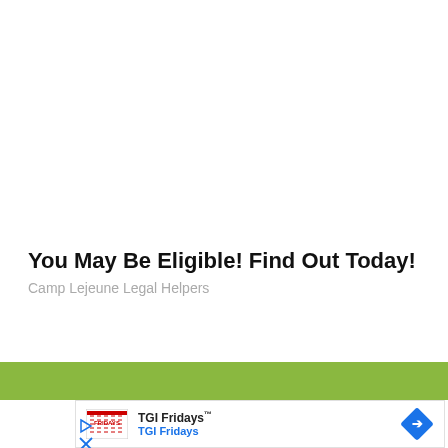You May Be Eligible! Find Out Today!
Camp Lejeune Legal Helpers
[Figure (logo): TGI Fridays logo with striped red/white pattern, TGI Fridays name in bold, blue TGI Fridays text below, and blue diamond navigation arrow icon on the right]
[Figure (other): Play/triangle icon and X/close icon in blue]